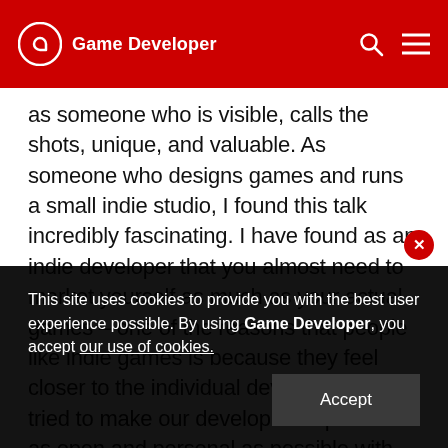Game Developer
as someone who is visible, calls the shots, unique, and valuable. As someone who designs games and runs a small indie studio, I found this talk incredibly fascinating. I have found as an indie developer that you almost need to market yourself as much as your actual games – one of the reasons that people like indie games is because they feel closer to the individual developers. I've tried to make our development process as open and personal as possible with frequent interviews, updates on our site, and constant twitter updates, but there was
This site uses cookies to provide you with the best user experience possible. By using Game Developer, you accept our use of cookies.
Accept